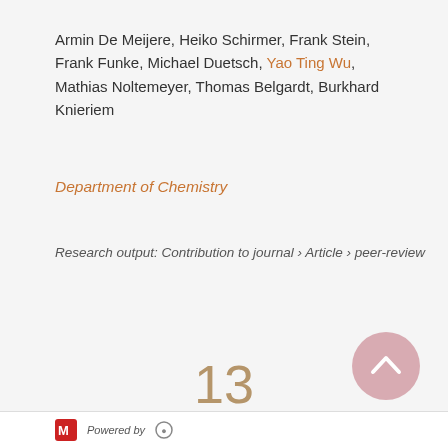Armin De Meijere, Heiko Schirmer, Frank Stein, Frank Funke, Michael Duetsch, Yao Ting Wu, Mathias Noltemeyer, Thomas Belgardt, Burkhard Knieriem
Department of Chemistry
Research output: Contribution to journal › Article › peer-review
13 Citations (Scopus)
[Figure (donut-chart): Orange donut chart with number 3 in the center]
[Figure (other): Pink scroll-to-top button with upward chevron]
Powered by Fingerprint...